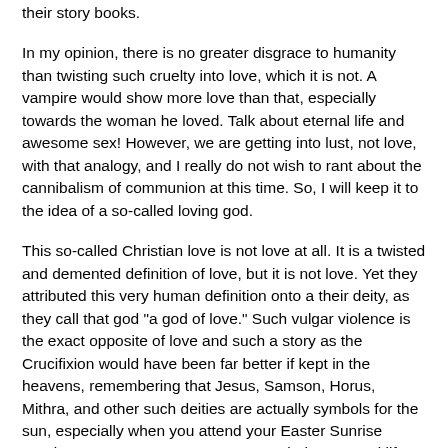their story books.
In my opinion, there is no greater disgrace to humanity than twisting such cruelty into love, which it is not. A vampire would show more love than that, especially towards the woman he loved. Talk about eternal life and awesome sex! However, we are getting into lust, not love, with that analogy, and I really do not wish to rant about the cannibalism of communion at this time. So, I will keep it to the idea of a so-called loving god.
This so-called Christian love is not love at all. It is a twisted and demented definition of love, but it is not love. Yet they attributed this very human definition onto a their deity, as they call that god "a god of love." Such vulgar violence is the exact opposite of love and such a story as the Crucifixion would have been far better if kept in the heavens, remembering that Jesus, Samson, Horus, Mithra, and other such deities are actually symbols for the sun, especially when you attend your Easter Sunrise Services. Yes, Samson was a sun symbol, not a real life Hercules or what have you. All of which developed out of animism and pagan fertility